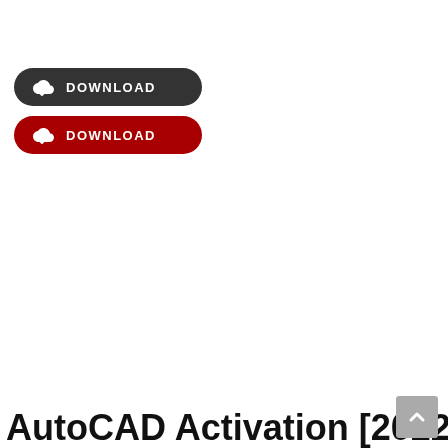[Figure (illustration): Dark grey rounded download button with cloud-download icon and white bold text 'DOWNLOAD']
[Figure (illustration): Dark red rounded download button with cloud-download icon and white bold text 'DOWNLOAD']
AutoCAD Activation [2022 Latest]